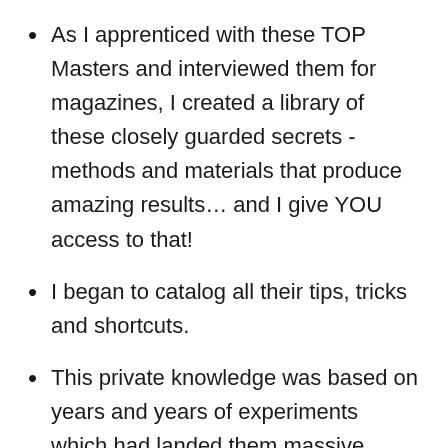As I apprenticed with these TOP Masters and interviewed them for magazines, I created a library of these closely guarded secrets - methods and materials that produce amazing results… and I give YOU access to that!
I began to catalog all their tips, tricks and shortcuts.
This private knowledge was based on years and years of experiments which had landed them massive success.
I realized that I was gathering GOLD. These